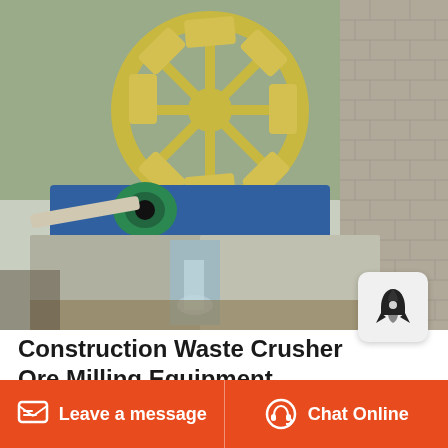[Figure (photo): Industrial construction waste crusher / sand washing machine with large yellow wheel, blue motor unit, water flowing through concrete channel, outdoor setting with brick wall in background.]
Construction Waste Crusher Ore Milling Equipment
Quality Forges Brand. Over the past 30 years, SBM has customized millions of aggregate production programs and equipment for global customers. Aggregate production plants have been being
Leave a message   Chat Online